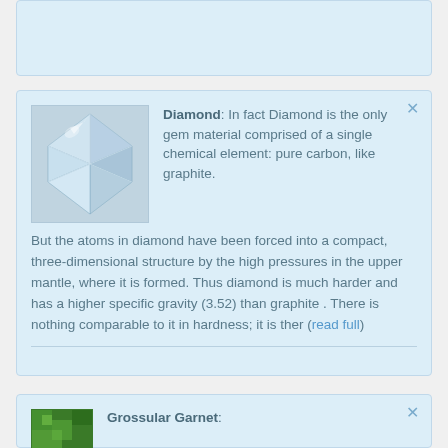[Figure (other): Top card placeholder - light blue card, partially visible]
Diamond: In fact Diamond is the only gem material comprised of a single chemical element: pure carbon, like graphite. But the atoms in diamond have been forced into a compact, three-dimensional structure by the high pressures in the upper mantle, where it is formed. Thus diamond is much harder and has a higher specific gravity (3.52) than graphite . There is nothing comparable to it in hardness; it is ther (read full)
[Figure (photo): Close-up photo of a diamond gemstone showing facets and sparkle]
Grossular Garnet: